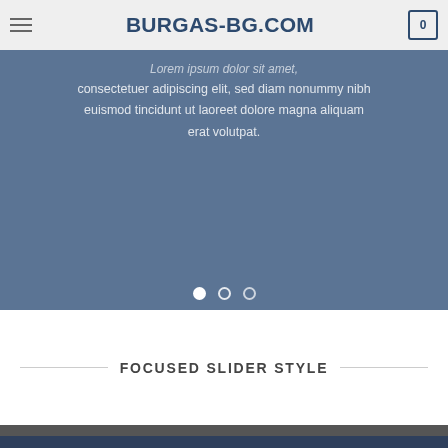BURGAS-BG.COM
[Figure (screenshot): Website slider/banner area with muted blue-grey background. Contains faded text 'SIMPLE BANNER' behind header, followed by lorem ipsum text body centered in the slide. Three pagination dots at the bottom (first filled/active, two outlined).]
FOCUSED SLIDER STYLE
[Figure (screenshot): Bottom portion of the page showing a dark grey horizontal strip and a dark navy blue section below it.]